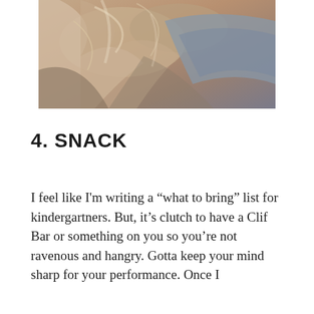[Figure (photo): Close-up photo of crumpled fabric or cloth in muted tones of beige, tan, and blue-grey]
4. SNACK
I feel like I'm writing a “what to bring” list for kindergartners. But, it’s clutch to have a Clif Bar or something on you so you’re not ravenous and hangry. Gotta keep your mind sharp for your performance. Once I